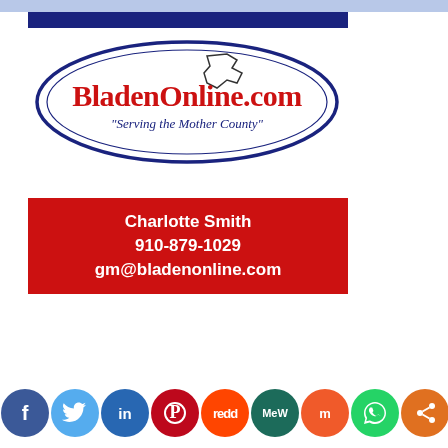[Figure (logo): BladenOnline.com logo with oval shape and tagline 'Serving the Mother County']
Charlotte Smith
910-879-1029
gm@bladenonline.com
[Figure (infographic): Social media icons row: Facebook, Twitter, LinkedIn, Pinterest, Reddit, MeWe, Mix, WhatsApp, Share]